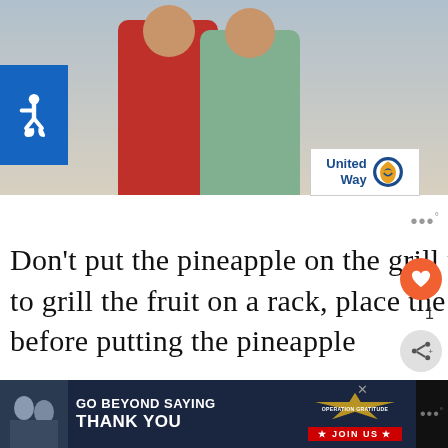[Figure (photo): Two smiling Asian women embracing/dancing together, one in red striped top and one in green cardigan]
[Figure (logo): United Way logo - blue text with circular emblem]
[Figure (logo): Accessibility wheelchair icon on blue background]
Don’t put the pineapple on the grill until it gets hot. If you’re going to grill the fruit on a rack, place the rack in the grill so it can be hot before putting the pineapple
[Figure (infographic): What's Next sidebar: How To Cook Filet Mignon...]
[Figure (infographic): Bottom advertisement banner: GO BEYOND SAYING THANK YOU - Operation Gratitude JOIN US]